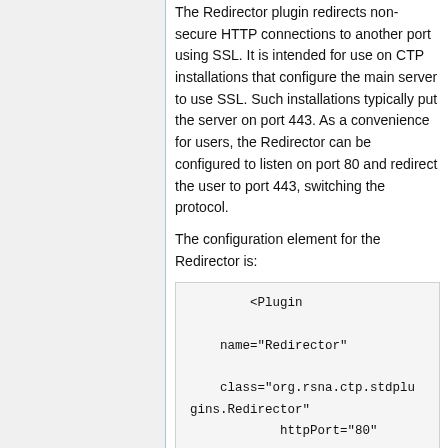The Redirector plugin redirects non-secure HTTP connections to another port using SSL. It is intended for use on CTP installations that configure the main server to use SSL. Such installations typically put the server on port 443. As a convenience for users, the Redirector can be configured to listen on port 80 and redirect the user to port 443, switching the protocol.
The configuration element for the Redirector is:
<Plugin
    name="Redirector"
    class="org.rsna.ctp.stdplugins.Redirector"
            httpPort="80"
            httpsHost="miro.mysecuresi